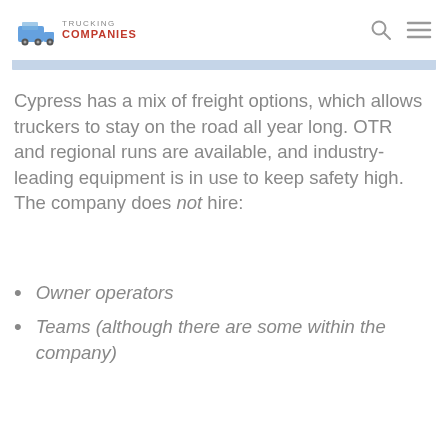TRUCKING COMPANIES
Cypress has a mix of freight options, which allows truckers to stay on the road all year long. OTR and regional runs are available, and industry-leading equipment is in use to keep safety high. The company does not hire:
Owner operators
Teams (although there are some within the company)